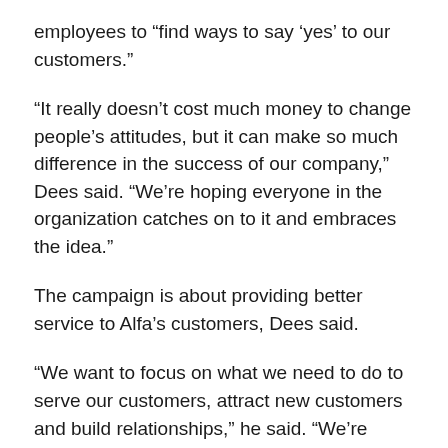employees to “find ways to say ‘yes’ to our customers.”
“It really doesn’t cost much money to change people’s attitudes, but it can make so much difference in the success of our company,” Dees said. “We’re hoping everyone in the organization catches on to it and embraces the idea.”
The campaign is about providing better service to Alfa’s customers, Dees said.
“We want to focus on what we need to do to serve our customers, attract new customers and build relationships,” he said. “We’re committed to the personal service provided by Alfa agents and CSRs in our service centers. The thing that differentiates Alfa from other companies is we have agents and CSRs who are embedded in